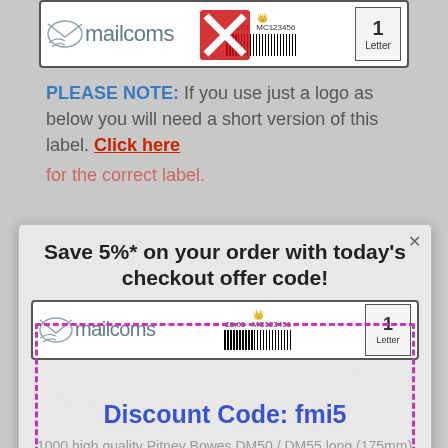[Figure (screenshot): Mailcoms franking label strip with logo, crown, barcode, and Letter box, with red X stamp overlay]
PLEASE NOTE: If you use just a logo as below you will need a short version of this label. Click here for the correct label.
[Figure (screenshot): Popup modal with headline 'Save 5%* on your order with today's checkout offer code!', a mailcoms label, dotted pink border rectangle, and discount code text 'Discount Code: fmi5', plus note 'This coupon code cannot be used in conjunction with orders for the refill / reset service.']
1000 high quality Pitney Bowes DM50 / DM55 long (175mm) double sheet franking labels.
These DM50 / DM55 franking machine labels are versatile and made of the highest quality. They are suitable for the Pitney Bowes DM50 / DM55 franking machines. This product comes in a box of 500 long double sheet franking labels (1000 labels). They have a long length design for Royal Mails